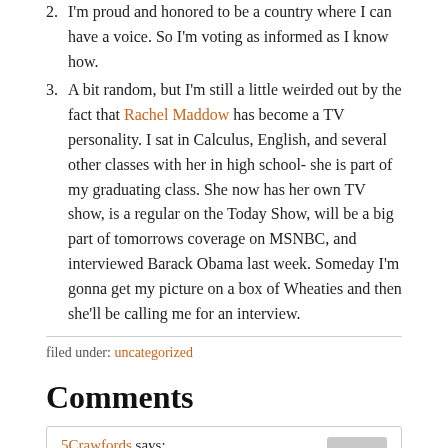2. I'm proud and honored to be a country where I can have a voice. So I'm voting as informed as I know how.
3. A bit random, but I'm still a little weirded out by the fact that Rachel Maddow has become a TV personality. I sat in Calculus, English, and several other classes with her in high school- she is part of my graduating class. She now has her own TV show, is a regular on the Today Show, will be a big part of tomorrows coverage on MSNBC, and interviewed Barack Obama last week. Someday I'm gonna get my picture on a box of Wheaties and then she'll be calling me for an interview.
filed under: uncategorized
Comments
5Crawfords says: